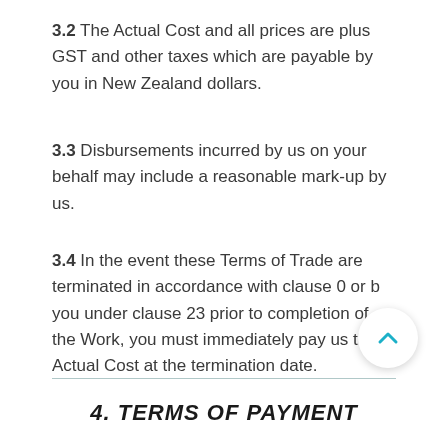3.2 The Actual Cost and all prices are plus GST and other taxes which are payable by you in New Zealand dollars.
3.3 Disbursements incurred by us on your behalf may include a reasonable mark-up by us.
3.4 In the event these Terms of Trade are terminated in accordance with clause 0 or by you under clause 23 prior to completion of the Work, you must immediately pay us the Actual Cost at the termination date.
4. TERMS OF PAYMENT